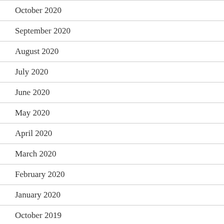October 2020
September 2020
August 2020
July 2020
June 2020
May 2020
April 2020
March 2020
February 2020
January 2020
October 2019